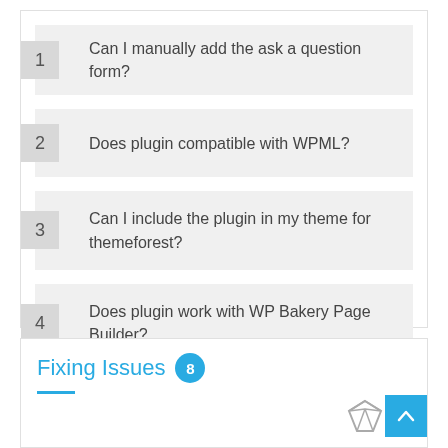1  Can I manually add the ask a question form?
2  Does plugin compatible with WPML?
3  Can I include the plugin in my theme for themeforest?
4  Does plugin work with WP Bakery Page Builder?
Fixing Issues  8